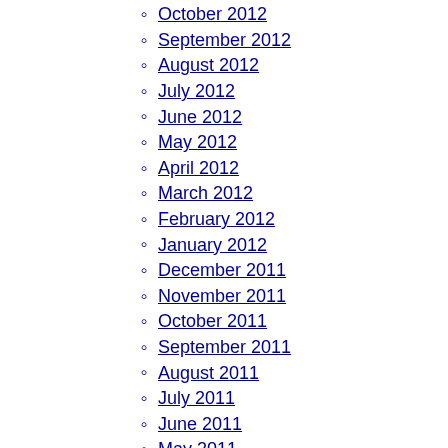October 2012
September 2012
August 2012
July 2012
June 2012
May 2012
April 2012
March 2012
February 2012
January 2012
December 2011
November 2011
October 2011
September 2011
August 2011
July 2011
June 2011
May 2011
April 2011
March 2011
February 2011
January 2011
December 2010
November 2010
October 2010